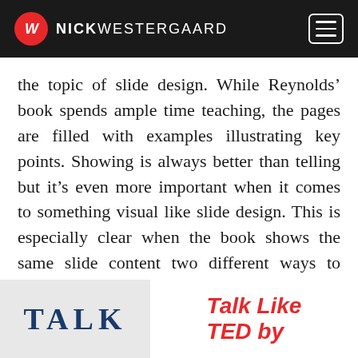NICKWESTERGAARD
the topic of slide design. While Reynolds’ book spends ample time teaching, the pages are filled with examples illustrating key points. Showing is always better than telling but it’s even more important when it comes to something visual like slide design. This is especially clear when the book shows the same slide content two different ways to illustrate the contrast between clear, simple slides vs. their crowded, complex counterparts.
[Figure (photo): Book cover showing the word TALK in large dark blue letters]
Talk Like TED by